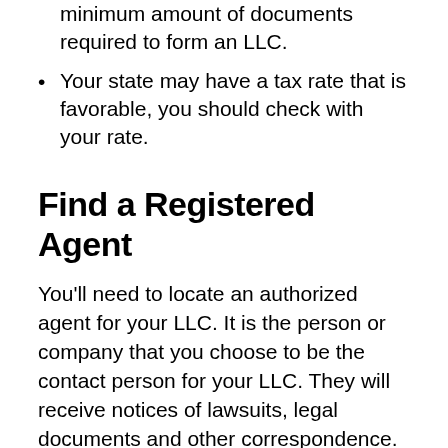minimum amount of documents required to form an LLC.
Your state may have a tax rate that is favorable, you should check with your rate.
Find a Registered Agent
You'll need to locate an authorized agent for your LLC. It is the person or company that you choose to be the contact person for your LLC. They will receive notices of lawsuits, legal documents and other correspondence. They can also serve on your behalf in case you are unable to act on your behalf. You can usually find a registered agent at the Secretary of State office in your state.